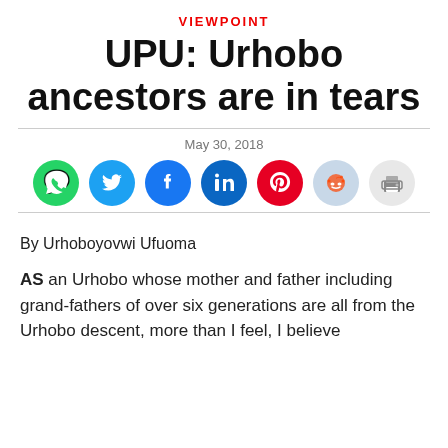VIEWPOINT
UPU: Urhobo ancestors are in tears
May 30, 2018
[Figure (infographic): Social media share buttons: WhatsApp (green), Twitter (blue), Facebook (dark blue), LinkedIn (blue), Pinterest (red), Reddit (light blue/gray), Print (gray)]
By Urhoboyovwi Ufuoma
AS an Urhobo whose mother and father including grand-fathers of over six generations are all from the Urhobo descent, more than I feel, I believe…